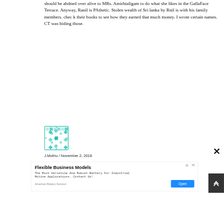should be ahdned over alive to MRs. Amirhtaligam to do what she likes in the GallaFace Terrace. Anyway, Ranil is PAthetic. Stolen wealth of Sri lanka by Rnil is with his family members. chec k their books to see how they earned that much money. I wrote certain names. CT was hiding those.
[Figure (illustration): A teal/cyan geometric patterned square avatar icon]
J.Muthu / November 2, 2018
[Figure (other): Close X button in top right]
Flexible Business Models
The Most Versatile And Robust Battery For Industrial Motive Applications. Contact Us!
American Battery Solution
Open